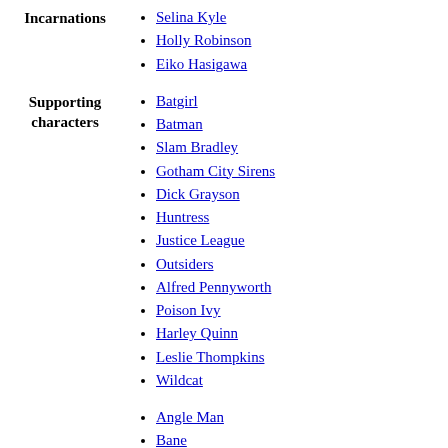Incarnations
Selina Kyle
Holly Robinson
Eiko Hasigawa
Supporting characters
Batgirl
Batman
Slam Bradley
Gotham City Sirens
Dick Grayson
Huntress
Justice League
Outsiders
Alfred Pennyworth
Poison Ivy
Harley Quinn
Leslie Thompkins
Wildcat
Angle Man
Bane
Black Mask
Clayface
Film Freak
Hush